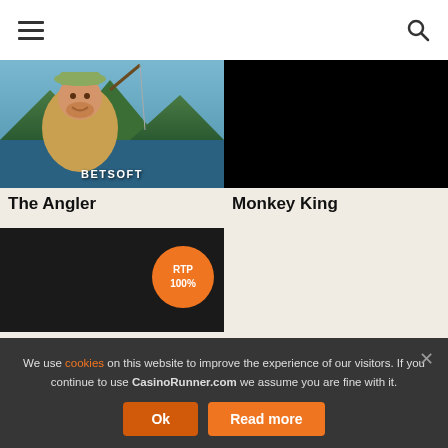Navigation header with hamburger menu and search icon
[Figure (screenshot): The Angler game thumbnail showing a cartoon fisherman character with fishing rod against a mountain lake background, with BETSOFT label overlay]
The Angler
[Figure (screenshot): Monkey King game thumbnail showing a black/dark image]
Monkey King
[Figure (screenshot): Third game thumbnail (black) with RTP 100% orange circular badge]
We use cookies on this website to improve the experience of our visitors. If you continue to use CasinoRunner.com we assume you are fine with it.
Ok | Read more